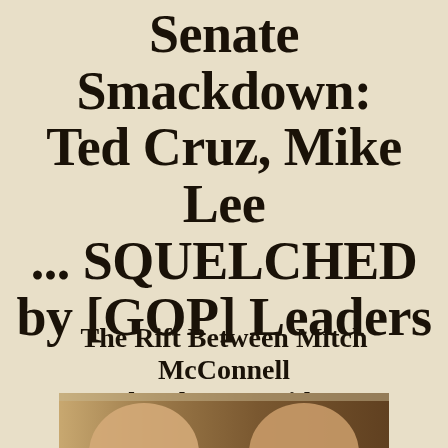Senate Smackdown: Ted Cruz, Mike Lee ... SQUELCHED by [GOP] Leaders
The Rift Between Mitch McConnell and Ted Cruz Widens.
[Figure (photo): Partial photo of two politicians at the bottom of the page, cropped]